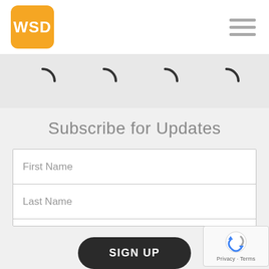[Figure (logo): WSD logo: white bold text on orange rounded square]
[Figure (other): Hamburger menu icon: three horizontal grey lines]
[Figure (other): Four loading spinner arcs on a grey background strip]
Subscribe for Updates
First Name
Last Name
Email
SIGN UP
[Figure (other): Google reCAPTCHA badge with logo and Privacy - Terms text]